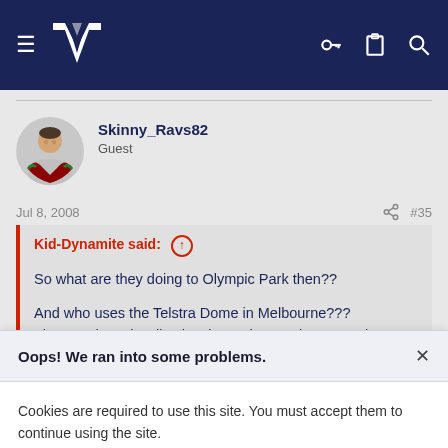[Figure (screenshot): Navigation bar with hamburger menu, NRL/MV logo, key icon, clipboard icon, and search icon on dark navy background]
Skinny_Ravs82
Guest
Jul 8, 2008  #35
Kid-Dynamite said: ↑

So what are they doing to Olympic Park then??

And who uses the Telstra Dome in Melbourne???
The NRL boys hardly play there, the AFL boys use the MCG, is
Oops! We ran into some problems.
Cookies are required to use this site. You must accept them to continue using the site.